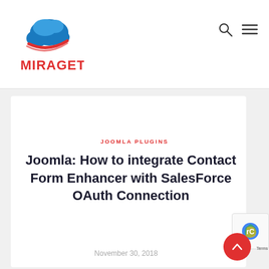[Figure (logo): Miraget logo: blue cloud with red swoosh above, red text MIRAGET below]
[Figure (other): Search icon (magnifying glass) and hamburger menu icon in top right of header]
JOOMLA PLUGINS
Joomla: How to integrate Contact Form Enhancer with SalesForce OAuth Connection
November 30, 2018